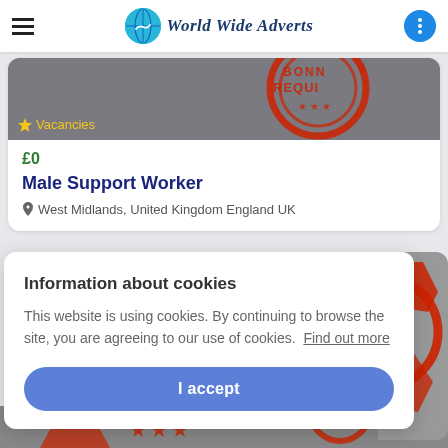World Wide Adverts
[Figure (screenshot): Job listing card showing a red stamp image with 'Vacancies' tag, price £0, title 'Male Support Worker', location 'West Midlands, United Kingdom England UK']
Male Support Worker
£0
West Midlands, United Kingdom England UK
Information about cookies
This website is using cookies. By continuing to browse the site, you are agreeing to our use of cookies.  Find out more
I accept